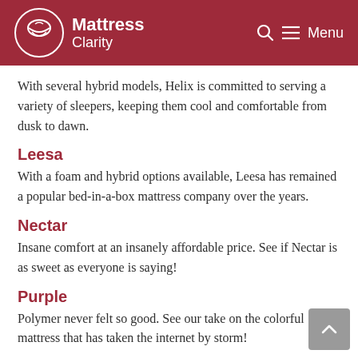Mattress Clarity — Menu
With several hybrid models, Helix is committed to serving a variety of sleepers, keeping them cool and comfortable from dusk to dawn.
Leesa
With a foam and hybrid options available, Leesa has remained a popular bed-in-a-box mattress company over the years.
Nectar
Insane comfort at an insanely affordable price. See if Nectar is as sweet as everyone is saying!
Purple
Polymer never felt so good. See our take on the colorful mattress that has taken the internet by storm!